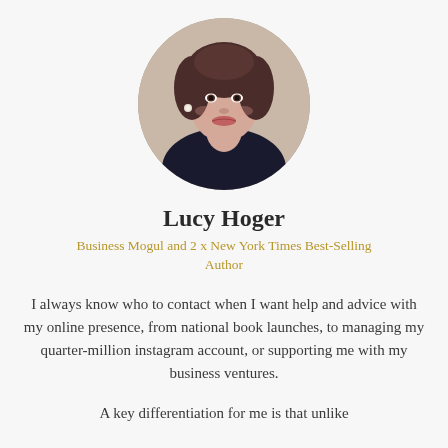[Figure (photo): Circular portrait photo of Lucy Hoger, a woman with short dark hair, professional appearance, against a light background.]
Lucy Hoger
Business Mogul and 2 x New York Times Best-Selling Author
I always know who to contact when I want help and advice with my online presence, from national book launches, to managing my quarter-million instagram account, or supporting me with my business ventures.
A key differentiation for me is that unlike